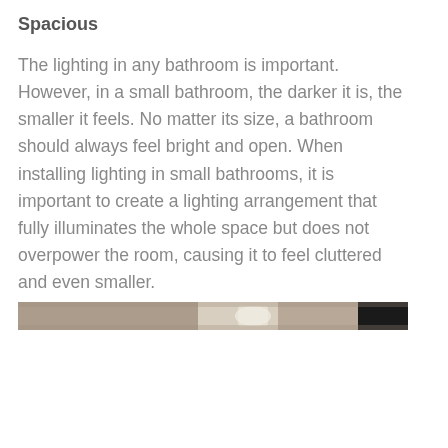Spacious
The lighting in any bathroom is important. However, in a small bathroom, the darker it is, the smaller it feels. No matter its size, a bathroom should always feel bright and open. When installing lighting in small bathrooms, it is important to create a lighting arrangement that fully illuminates the whole space but does not overpower the room, causing it to feel cluttered and even smaller.
[Figure (photo): A narrow horizontal strip showing a partial view of a bathroom interior with warm/neutral tones, partially visible fixtures and a dark section on the right.]